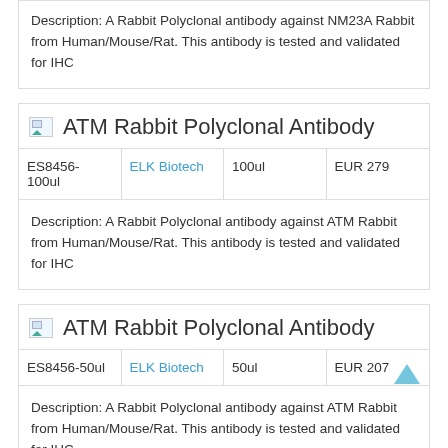Description: A Rabbit Polyclonal antibody against NM23A Rabbit from Human/Mouse/Rat. This antibody is tested and validated for IHC
ATM Rabbit Polyclonal Antibody
| ES8456-100ul | ELK Biotech | 100ul | EUR 279 |
| --- | --- | --- | --- |
Description: A Rabbit Polyclonal antibody against ATM Rabbit from Human/Mouse/Rat. This antibody is tested and validated for IHC
ATM Rabbit Polyclonal Antibody
| ES8456-50ul | ELK Biotech | 50ul | EUR 207 |
| --- | --- | --- | --- |
Description: A Rabbit Polyclonal antibody against ATM Rabbit from Human/Mouse/Rat. This antibody is tested and validated for IHC